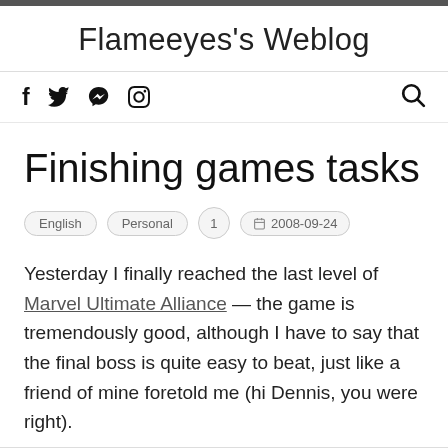Flameeyes's Weblog
Finishing games tasks
English  Personal  1  2008-09-24
Yesterday I finally reached the last level of Marvel Ultimate Alliance — the game is tremendously good, although I have to say that the final boss is quite easy to beat, just like a friend of mine foretold me (hi Dennis, you were right).